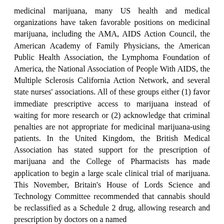medicinal marijuana, many US health and medical organizations have taken favorable positions on medicinal marijuana, including the AMA, AIDS Action Council, the American Academy of Family Physicians, the American Public Health Association, the Lymphoma Foundation of America, the National Association of People With AIDS, the Multiple Sclerosis California Action Network, and several state nurses' associations. All of these groups either (1) favor immediate prescriptive access to marijuana instead of waiting for more research or (2) acknowledge that criminal penalties are not appropriate for medicinal marijuana-using patients. In the United Kingdom, the British Medical Association has stated support for the prescription of marijuana and the College of Pharmacists has made application to begin a large scale clinical trial of marijuana. This November, Britain's House of Lords Science and Technology Committee recommended that cannabis should be reclassified as a Schedule 2 drug, allowing research and prescription by doctors on a named
patient basis. The report called for clinical trials of cannabis in the treatment of multiple sclerosis and chronic pain but recommended that doctors should be allowed to prescribe cannabis before its benefits are proved. The recommendations follow an eight month inquiry, which concluded that although there was no conclusive proof of the medical value of cannabis,